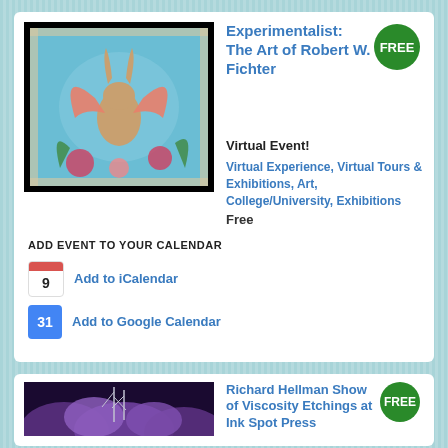[Figure (photo): Colorful artwork showing a rabbit or creature with wings against a blue floral background]
Experimentalist: The Art of Robert W. Fichter
FREE
Virtual Event!
Virtual Experience, Virtual Tours & Exhibitions, Art, College/University, Exhibitions
Free
ADD EVENT TO YOUR CALENDAR
Add to iCalendar
Add to Google Calendar
[Figure (photo): Purple/violet toned artwork showing rocky landscape with bare trees]
Richard Hellman Show of Viscosity Etchings at Ink Spot Press
FREE